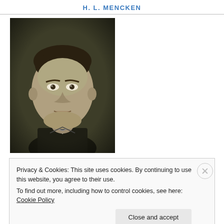H. L. MENCKEN
[Figure (photo): Black and white portrait photograph of H. L. Mencken, a young man in a dark suit looking directly at the camera with a serious expression.]
Privacy & Cookies: This site uses cookies. By continuing to use this website, you agree to their use.
To find out more, including how to control cookies, see here: Cookie Policy
Close and accept